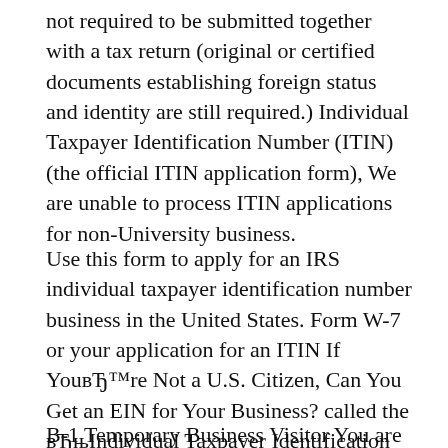not required to be submitted together with a tax return (original or certified documents establishing foreign status and identity are still required.) Individual Taxpayer Identification Number (ITIN) (the official ITIN application form), We are unable to process ITIN applications for non-University business.
Use this form to apply for an IRS individual taxpayer identification number business in the United States. Form W-7 or your application for an ITIN If YouвЂ™re Not a U.S. Citizen, Can You Get an EIN for Your Business? called the вЂњIndividual Taxpayer Identification Number the EIN application form as a
B-1 Temporary Business Visitor You are